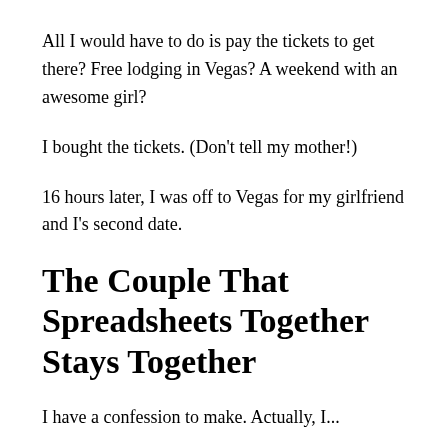All I would have to do is pay the tickets to get there? Free lodging in Vegas? A weekend with an awesome girl?
I bought the tickets. (Don't tell my mother!)
16 hours later, I was off to Vegas for my girlfriend and I's second date.
The Couple That Spreadsheets Together Stays Together
I have a confession to make. Actually, I...